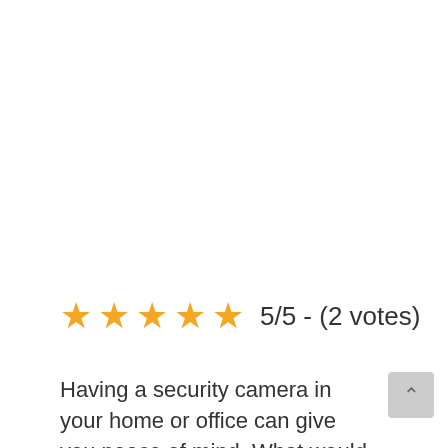[Figure (other): Five gold/orange star rating icons followed by rating text '5/5 - (2 votes)']
Having a security camera in your home or office can give you peace of mind. What would it be if you could monitor the camera